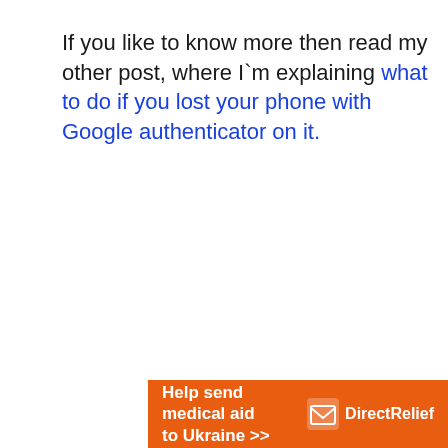If you like to know more then read my other post, where I`m explaining what to do if you lost your phone with Google authenticator on it.
[Figure (other): Orange advertisement banner for Direct Relief charity. Text reads 'Help send medical aid to Ukraine >>' with the Direct Relief logo (envelope icon) and name on the right.]